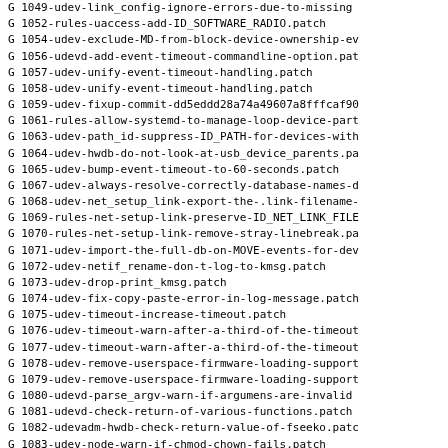G 1049-udev-link_config-ignore-errors-due-to-missing-...
G 1052-rules-uaccess-add-ID_SOFTWARE_RADIO.patch
G 1054-udev-exclude-MD-from-block-device-ownership-ev...
G 1056-udevd-add-event-timeout-commandline-option.pat...
G 1057-udev-unify-event-timeout-handling.patch
G 1058-udev-unify-event-timeout-handling.patch
G 1059-udev-fixup-commit-dd5eddd28a74a49607a8fffcaf90...
G 1061-rules-allow-systemd-to-manage-loop-device-part...
G 1063-udev-path_id-suppress-ID_PATH-for-devices-with...
G 1064-udev-hwdb-do-not-look-at-usb_device_parents.pa...
G 1065-udev-bump-event-timeout-to-60-seconds.patch
G 1067-udev-always-resolve-correctly-database-names-o...
G 1068-udev-net_setup_link-export-the-.link-filename-...
G 1069-rules-net-setup-link-preserve-ID_NET_LINK_FILE...
G 1070-rules-net-setup-link-remove-stray-linebreak.pa...
G 1071-udev-import-the-full-db-on-MOVE-events-for-dev...
G 1072-udev-netif_rename-don-t-log-to-kmsg.patch
G 1073-udev-drop-print_kmsg.patch
G 1074-udev-fix-copy-paste-error-in-log-message.patch...
G 1075-udev-timeout-increase-timeout.patch
G 1076-udev-timeout-warn-after-a-third-of-the-timeout...
G 1077-udev-timeout-warn-after-a-third-of-the-timeout...
G 1078-udev-remove-userspace-firmware-loading-support...
G 1079-udev-remove-userspace-firmware-loading-support...
G 1080-udevd-parse_argv-warn-if-argumens-are-invalid...
G 1081-udevd-check-return-of-various-functions.patch
G 1082-udevadm-hwdb-check-return-value-of-fseeko.pat...
G 1083-udev-node-warn-if-chmod-chown-fails.patch
G 1084-udev-ctrl-log-if-setting-SO_PASSCRED-fails.pat...
G 1085-udev-fix-typos.patch
G 1086-udevd-don_t-fail-if-run_udev-exists.patch